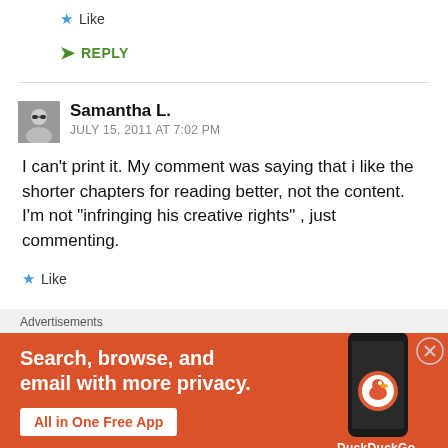★ Like
↳ REPLY
Samantha L.
JULY 15, 2011 AT 7:02 PM
I can't print it. My comment was saying that i like the shorter chapters for reading better, not the content. I'm not "infringing his creative rights" , just commenting.
★ Like
[Figure (infographic): DuckDuckGo advertisement banner showing orange background with white text 'Search, browse, and email with more privacy. All in One Free App' and a smartphone image with DuckDuckGo logo]